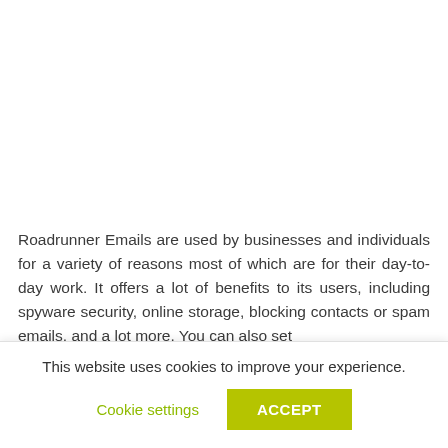Roadrunner Emails are used by businesses and individuals for a variety of reasons most of which are for their day-to-day work. It offers a lot of benefits to its users, including spyware security, online storage, blocking contacts or spam emails, and a lot more. You can also set
This website uses cookies to improve your experience.
Cookie settings   ACCEPT